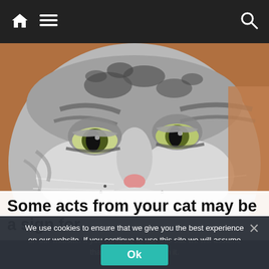Navigation bar with home icon, menu icon, and search icon
[Figure (photo): Close-up photo of a grumpy-looking grey tabby cat with green eyes, dark markings on its face, and a pink nose. The cat's face fills most of the frame, with a blurred warm-toned background.]
Some acts from your cat may be a sign for
We use cookies to ensure that we give you the best experience on our website. If you continue to use this site we will assume that you are happy with it.
Ok